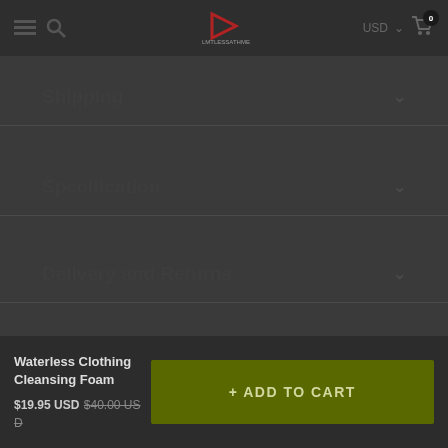USD 0 (cart)
Shipping
Specification
Delivery and Returns
Why Buy From Us
Waterless Clothing Cleansing Foam
$19.95 USD $40.00 USD
+ ADD TO CART